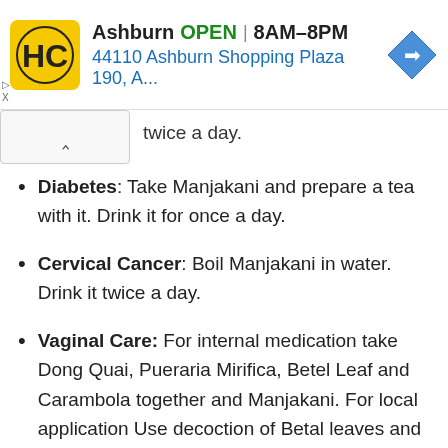[Figure (screenshot): Advertisement banner for HC pharmacy in Ashburn showing logo, OPEN status, hours 8AM-8PM, and address 44110 Ashburn Shopping Plaza 190, A...]
twice a day.
Diabetes: Take Manjakani and prepare a tea with it. Drink it for once a day.
Cervical Cancer: Boil Manjakani in water. Drink it twice a day.
Vaginal Care: For internal medication take Dong Quai, Pueraria Mirifica, Betel Leaf and Carambola together and Manjakani. For local application Use decoction of Betal leaves and or Manjakani.